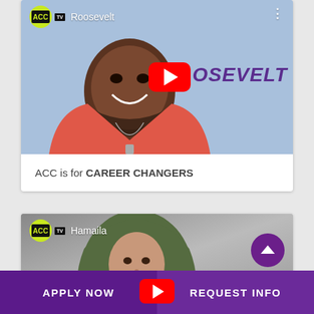[Figure (screenshot): YouTube-style video thumbnail showing a smiling Black man in a red shirt with the text 'ROOSEVELT' and ACC TV logo. A YouTube play button is overlaid on the image.]
ACC is for CAREER CHANGERS
[Figure (screenshot): YouTube-style video thumbnail showing a woman named Hamaila with ACC TV logo, a scroll-up button, and a YouTube play button.]
APPLY NOW
REQUEST INFO